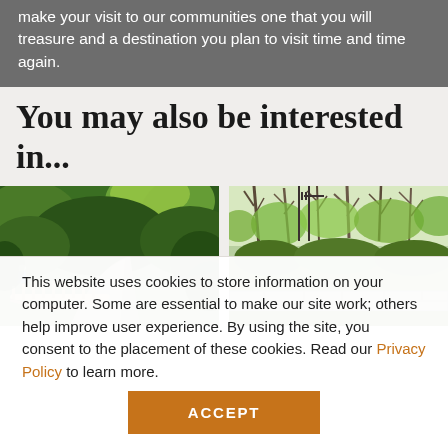make your visit to our communities one that you will treasure and a destination you plan to visit time and time again.
You may also be interested in...
[Figure (photo): A paved trail curving through green trees with a wooden bridge in the foreground; a jogger visible on the left.]
[Figure (photo): A wooded area with bare and leafy trees, viewed over a stone wall or structure.]
This website uses cookies to store information on your computer. Some are essential to make our site work; others help improve user experience. By using the site, you consent to the placement of these cookies. Read our Privacy Policy to learn more.
ACCEPT